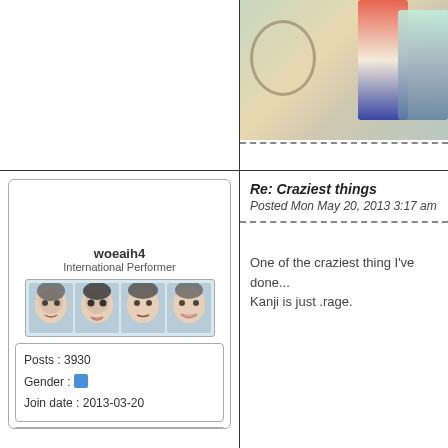[Figure (photo): Partial photo of two people standing, one in red and white top with dark overalls, one in light colored top with patterned shorts, with a wheel or gate visible in background]
woeaih4
International Performer
[Figure (illustration): Avatar strip showing four anime-style face illustrations in a row with light blue background]
| Posts : 3930 |
| Gender : [icon] |
| Join date : 2013-03-20 |
Re: Craziest things
Posted Mon May 20, 2013 3:17 am
One of the craziest thing I've done... Kanji is just .rage.